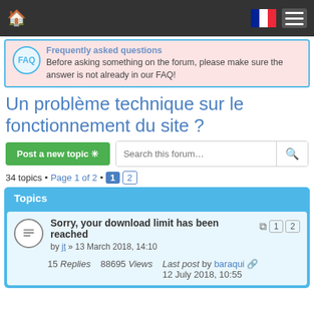Navigation bar with home icon, French flag, and hamburger menu
Frequently asked questions
Before asking something on the forum, please make sure the answer is not already in our FAQ!
Un problème technique sur le fonctionnement du site ?
Post a new topic  Search this forum...
34 topics • Page 1 of 2 • 1 2
| Topics |
| --- |
| Sorry, your download limit has been reached | by jt » 13 March 2018, 14:10 | 15 Replies | 88695 Views | Last post by baraqui | 12 July 2018, 10:55 |